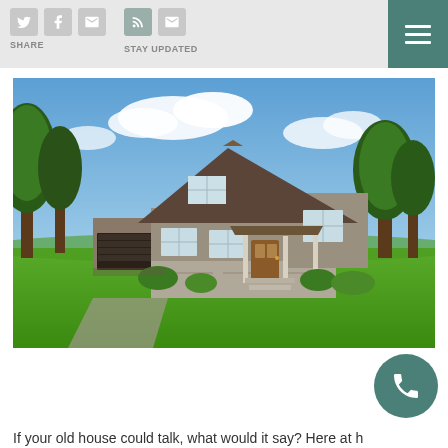SHARE | STAY UPDATED
[Figure (photo): Exterior photo of a large two-story craftsman/farmhouse style home with tan board-and-batten siding, dark brown roof, attached garage, covered front porch, set on a large green lawn with trees on either side under a blue sky with clouds.]
If your old house could talk, what would it say? Here at h